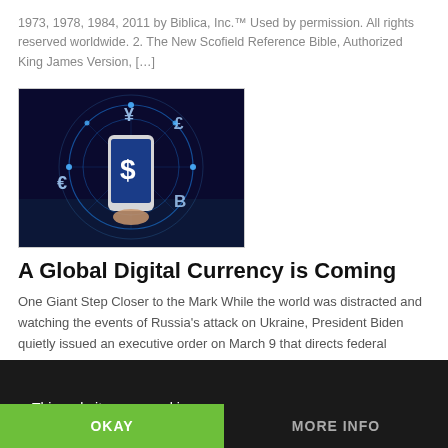1973, 1978, 1984, 2011 by Biblica, Inc.™ Used by permission. All rights reserved worldwide. 2. The New Scofield Reference Bible, Authorized King James Version, […]
[Figure (illustration): Digital currency concept image: hand holding a smartphone with a dollar sign, surrounded by currency symbols (¥, £, €, B) on a glowing blue circular network background.]
A Global Digital Currency is Coming
One Giant Step Closer to the Mark While the world was distracted and watching the events of Russia's attack on Ukraine, President Biden quietly issued an executive order on March 9 that directs federal agencies to develop policies for the US government to regulate and issue a new digital currency, tentatively called the FedCoin (1). […]
This website uses cookies
OKAY
MORE INFO